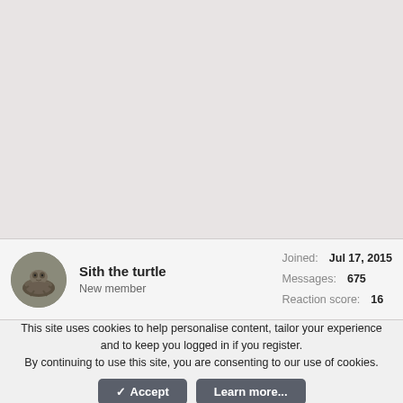[Figure (other): Large light grey/taupe blank area at top of page, appears to be a content area with no visible content]
Sith the turtle
New member
Joined: Jul 17, 2015
Messages: 675
Reaction score: 16
This site uses cookies to help personalise content, tailor your experience and to keep you logged in if you register.
By continuing to use this site, you are consenting to our use of cookies.
✓ Accept    Learn more...